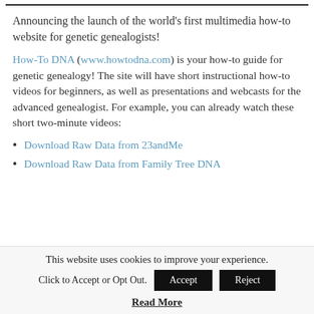Announcing the launch of the world's first multimedia how-to website for genetic genealogists!
How-To DNA (www.howtodna.com) is your how-to guide for genetic genealogy! The site will have short instructional how-to videos for beginners, as well as presentations and webcasts for the advanced genealogist. For example, you can already watch these short two-minute videos:
Download Raw Data from 23andMe
Download Raw Data from Family Tree DNA
This website uses cookies to improve your experience. Click to Accept or Opt Out.
Read More